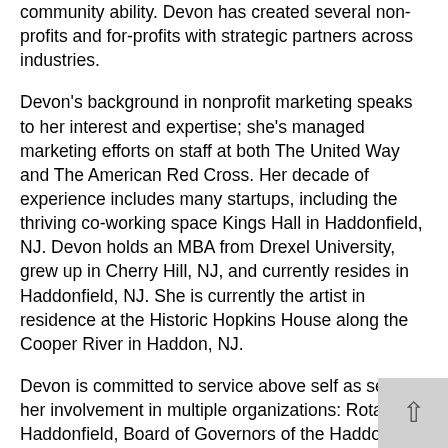community ability. Devon has created several non-profits and for-profits with strategic partners across industries.
Devon's background in nonprofit marketing speaks to her interest and expertise; she's managed marketing efforts on staff at both The United Way and The American Red Cross. Her decade of experience includes many startups, including the thriving co-working space Kings Hall in Haddonfield, NJ. Devon holds an MBA from Drexel University, grew up in Cherry Hill, NJ, and currently resides in Haddonfield, NJ. She is currently the artist in residence at the Historic Hopkins House along the Cooper River in Haddon, NJ.
Devon is committed to service above self as seen in her involvement in multiple organizations: Rotary of Haddonfield, Board of Governors of the Haddonfield Civic Association, Young Friends Council of the Ronald McDonald House of South